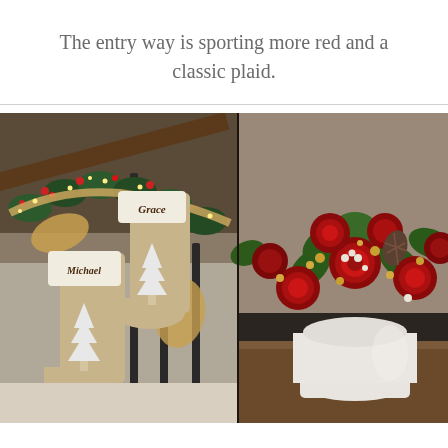The entry way is sporting more red and a classic plaid.
[Figure (photo): Two-panel photo showing Christmas entryway decorations: left panel shows personalized burlap Christmas stockings ('Michael' and 'Grace') with Christmas tree appliques hanging from stair railing decorated with garland, berries, lights, and ribbon; right panel shows a white vase with lush red rose and greenery floral arrangement with pine cones and gold berries on a wooden surface.]